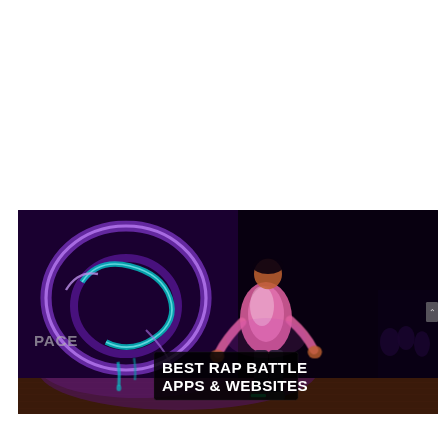[Figure (photo): A person standing on a wooden stage floor in front of a glowing neon graffiti wall with purple, blue, and teal lettering that reads 'Verso'. The person is wearing a pink/white hoodie and dark pants. The scene is dark with vibrant neon lighting. A black text overlay box reads 'BEST RAP BATTLE APPS & WEBSITES' in bold white capital letters.]